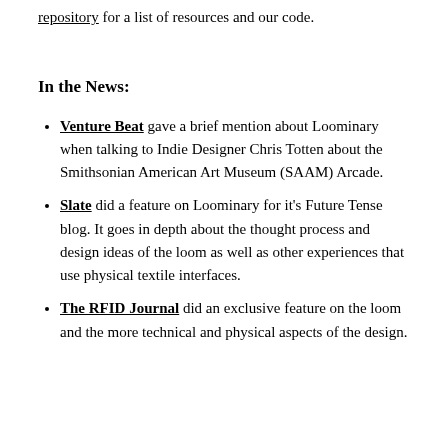repository for a list of resources and our code.
In the News:
Venture Beat gave a brief mention about Loominary when talking to Indie Designer Chris Totten about the Smithsonian American Art Museum (SAAM) Arcade.
Slate did a feature on Loominary for it's Future Tense blog. It goes in depth about the thought process and design ideas of the loom as well as other experiences that use physical textile interfaces.
The RFID Journal did an exclusive feature on the loom and the more technical and physical aspects of the design.